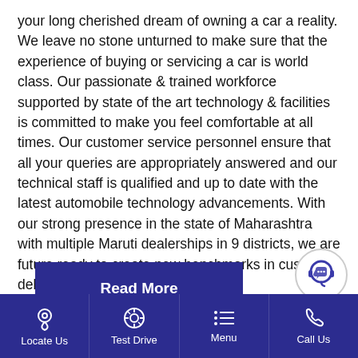your long cherished dream of owning a car a reality. We leave no stone unturned to make sure that the experience of buying or servicing a car is world class. Our passionate & trained workforce supported by state of the art technology & facilities is committed to make you feel comfortable at all times. Our customer service personnel ensure that all your queries are appropriately answered and our technical staff is qualified and up to date with the latest automobile technology advancements. With our strong presence in the state of Maharashtra with multiple Maruti dealerships in 9 districts, we are future ready to create new benchmarks in customer delight.
[Figure (other): Read More button - dark blue rectangle with white bold text]
[Figure (other): Chat support floating icon - circular outline with headset/chat bubble icon in dark blue]
[Figure (other): Edit/document floating icon - filled dark blue circle with document and pen icon in white]
Locate Us | Test Drive | Menu | Call Us